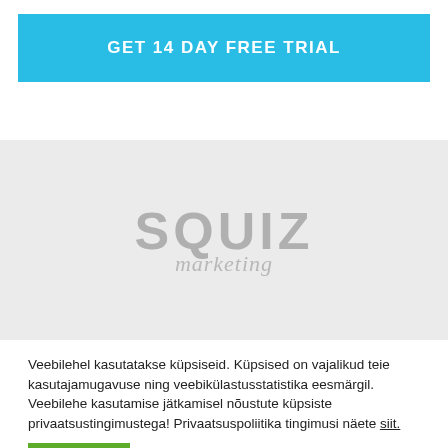GET 14 DAY FREE TRIAL
[Figure (logo): SQUIZ marketing logo watermark on gray background]
Veebilehel kasutatakse küpsiseid. Küpsised on vajalikud teie kasutajamugavuse ning veebikülastusstatistika eesmärgil. Veebilehe kasutamise jätkamisel nõustute küpsiste privaatsustingimustega! Privaatsuspoliitika tingimusi näete siit.
Nõustu